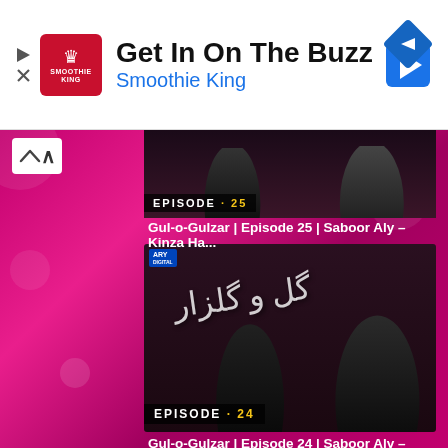[Figure (screenshot): Smoothie King advertisement banner with logo, text 'Get In On The Buzz', 'Smoothie King', a blue navigation arrow icon, and play/close controls on the left]
[Figure (screenshot): YouTube-style mobile app screen showing a pink/magenta background with two video thumbnails for Gul-o-Gulzar drama series. Top partial thumbnail shows Episode 25, main thumbnail shows Episode 24 with two women in black clothing and Urdu text overlay. A collapse arrow button is visible on the left.]
Gul-o-Gulzar | Episode 25 | Saboor Aly – Kinza Ha...
Gul-o-Gulzar | Episode 24 | Saboor Aly – Kinza Ha:..